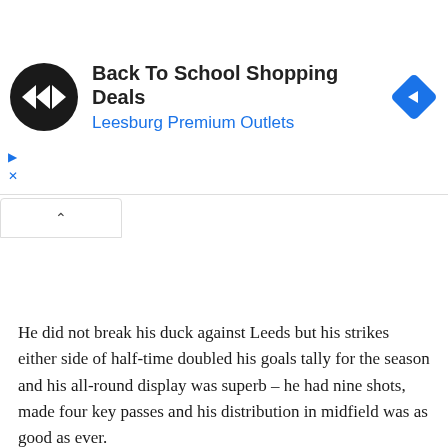[Figure (screenshot): Ad banner for 'Back To School Shopping Deals' at Leesburg Premium Outlets with a black circular logo with double arrow icon on the left and a blue diamond navigation icon on the right. Below the ad are small blue play and X controls. A collapse chevron button appears below the banner.]
He did not break his duck against Leeds but his strikes either side of half-time doubled his goals tally for the season and his all-round display was superb – he had nine shots, made four key passes and his distribution in midfield was as good as ever.